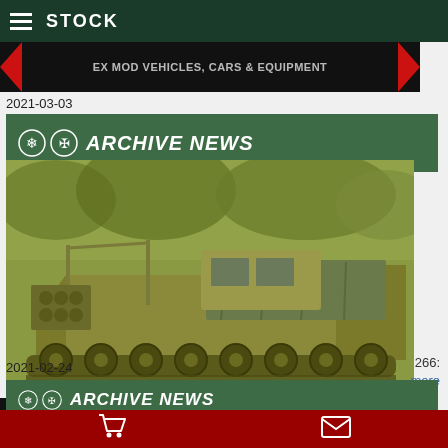STOCK
[Figure (screenshot): Partial banner strip: EX MOD VEHICLES, CARS & EQUIPMENT with red chevrons on dark background]
2021-03-03
[Figure (photo): Archive News banner header with snowflake/crest icons on green background, bold italic white text ARCHIVE NEWS]
[Figure (photo): Military tracked vehicle (M270 MLRS or similar) in olive green, carrying rocket launcher system, photographed outdoors in wooded setting, sepia/green toned]
266:
more
[Figure (screenshot): Bottom banner: EX MOD VEHICLES, CARS & EQUIPMENT with red chevrons on dark background]
2021-02-24
[Figure (screenshot): Partial Archive News header with snowflake/crest icons on green background, partially cut off at bottom]
Shopping cart and mail icons on dark red bottom navigation bar